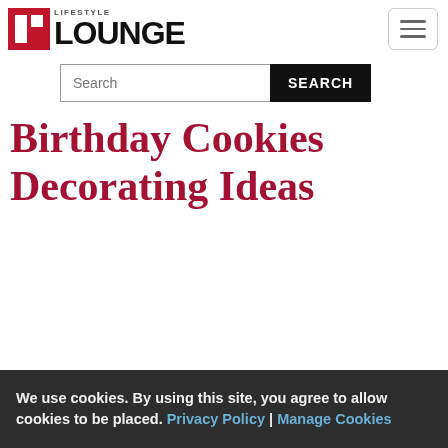LIFESTYLE LOUNGE
Search
Birthday Cookies Decorating Ideas
We use cookies. By using this site, you agree to allow cookies to be placed. Privacy Policy | Manage Cookies